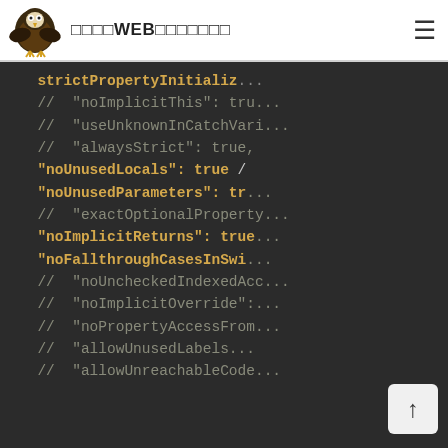鷹のWEB制作学習サイト
[Figure (screenshot): Dark-themed code editor screenshot showing TypeScript tsconfig.json compiler options in monospace font. Lines include: strictPropertyInitializ... (partially visible), // "noImplicitThis": true (commented), // "useUnknownInCatchVari... (commented), // "alwaysStrict": true, (commented), "noUnusedLocals": true / (active, gold), "noUnusedParameters": tr... (active, gold), // "exactOptionalProperty... (commented), "noImplicitReturns": true (active, gold), "noFallthroughCasesInSwi... (active, gold), // "noUncheckedIndexedAcc... (commented), // "noImplicitOverride": (commented), // "noPropertyAccessFrom... (commented), // "allowUnusedLabels... (commented), // "allowUnreachableCode... (commented). A scroll-to-top button is visible at bottom right.]